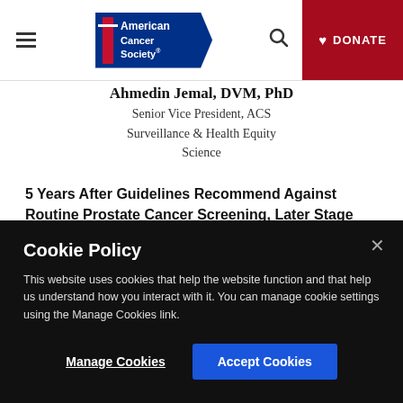American Cancer Society navigation bar with logo, search, and DONATE button
Ahmedin Jemal, DVM, PhD
Senior Vice President, ACS Surveillance & Health Equity Science
5 Years After Guidelines Recommend Against Routine Prostate Cancer Screening, Later Stage Cancers Continue to Increase—for Unknown Reasons
Cookie Policy

This website uses cookies that help the website function and that help us understand how you interact with it. You can manage cookie settings using the Manage Cookies link.
Manage Cookies | Accept Cookies